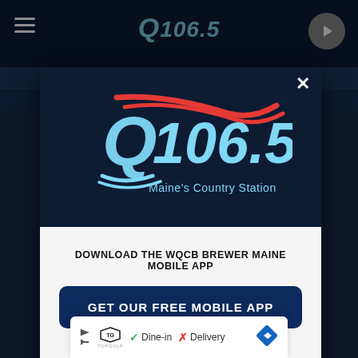[Figure (screenshot): Q106.5 Maine's Country Station radio station website popup modal. The modal contains the station logo on a dark navy background, a 'DOWNLOAD THE WQCB BREWER MAINE MOBILE APP' prompt, a blue 'GET OUR FREE MOBILE APP' button, an 'Also listen on: amazon alexa' section with the Alexa ring icon, and an advertisement bar at the bottom for TopGolf showing Dine-in and Delivery options.]